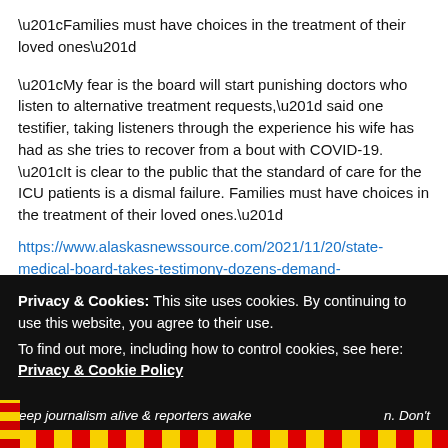“Families must have choices in the treatment of their loved ones”
“My fear is the board will start punishing doctors who listen to alternative treatment requests,” said one testifier, taking listeners through the experience his wife has had as she tries to recover from a bout with COVID-19. “It is clear to the public that the standard of care for the ICU patients is a dismal failure. Families must have choices in the treatment of their loved ones.” https://www.alaskasnewssource.com/2021/11/20/state-medical-board-takes-testimony-dozens-demand-accountability-over-covid-19-misinformation/
[Figure (illustration): Green thumbs-up button and orange thumbs-down button icons]
Privacy & Cookies: This site uses cookies. By continuing to use this website, you agree to their use. To find out more, including how to control cookies, see here: Privacy & Cookie Policy
Close and accept
Keep journalism alive & reporters awake